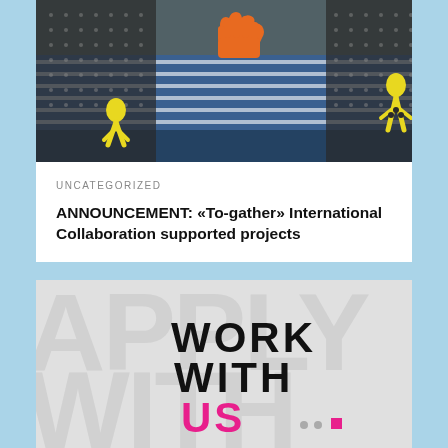[Figure (illustration): Colorful artwork illustration with blue striped background, orange hand shape, yellow figures, on dark background]
UNCATEGORIZED
ANNOUNCEMENT: «To-gather» International Collaboration supported projects
[Figure (illustration): Work With Us graphic - bold black text WORK WITH on grey background with large light grey letters, US in pink/magenta, with small dot and pink square]